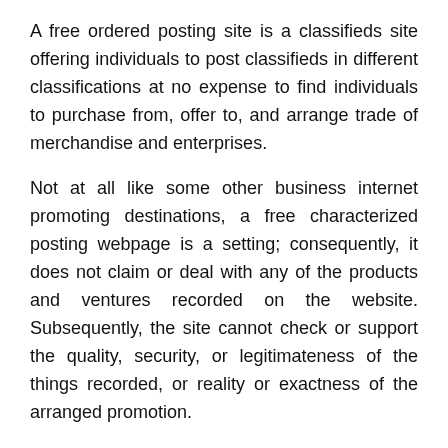A free ordered posting site is a classifieds site offering individuals to post classifieds in different classifications at no expense to find individuals to purchase from, offer to, and arrange trade of merchandise and enterprises.
Not at all like some other business internet promoting destinations, a free characterized posting webpage is a setting; consequently, it does not claim or deal with any of the products and ventures recorded on the website. Subsequently, the site cannot check or support the quality, security, or legitimateness of the things recorded, or reality or exactness of the arranged promotion.
Free Classified Posting Site-How To Avail Its Services?
To put an items and services on free arranged posting site, you should turn into a part. The part enlistment measure necessitates that you give your complete